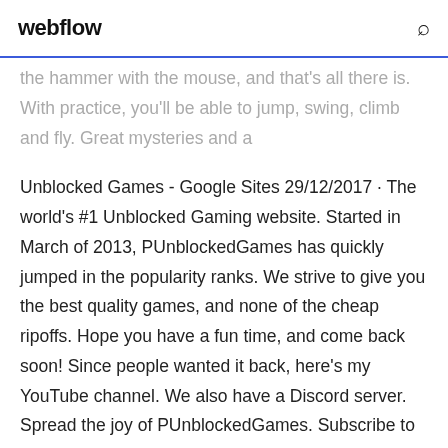webflow
the hammer with the mouse, and that's all there is. With practice, you'll be able to jump, swing, climb and fly. Great mysteries and a
Unblocked Games - Google Sites 29/12/2017 · The world's #1 Unblocked Gaming website. Started in March of 2013, PUnblockedGames has quickly jumped in the popularity ranks. We strive to give you the best quality games, and none of the cheap ripoffs. Hope you have a fun time, and come back soon! Since people wanted it back, here's my YouTube channel. We also have a Discord server. Spread the joy of PUnblockedGames. Subscribe to ... Getting Over It with Bennett Foddy Free Download